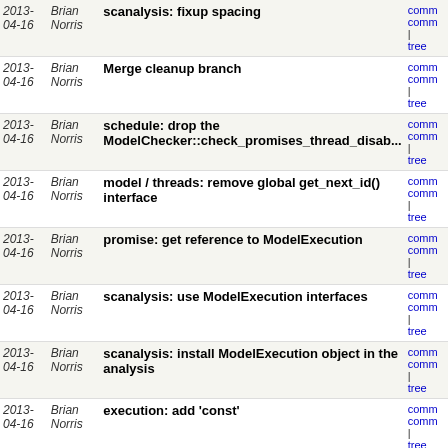| Date | Author | Commit Message | Links |
| --- | --- | --- | --- |
| 2013-04-16 | Brian Norris | scanalysis: fixup spacing | comm comm | tree |
| 2013-04-16 | Brian Norris | Merge cleanup branch | comm comm | tree |
| 2013-04-16 | Brian Norris | schedule: drop the ModelChecker::check_promises_thread_disab... | comm comm | tree |
| 2013-04-16 | Brian Norris | model / threads: remove global get_next_id() interface | comm comm | tree |
| 2013-04-16 | Brian Norris | promise: get reference to ModelExecution | comm comm | tree |
| 2013-04-16 | Brian Norris | scanalysis: use ModelExecution interfaces | comm comm | tree |
| 2013-04-16 | Brian Norris | scanalysis: install ModelExecution object in the analysis | comm comm | tree |
| 2013-04-16 | Brian Norris | execution: add 'const' | comm comm | tree |
| 2013-04-16 | Brian Norris | model: cleanup a few more interfaces | comm comm | tree |
| 2013-04-16 | Brian Norris | model: add get_execution() interface | comm comm | tree |
| 2013-04-16 | Brian Norris | BROKEN: restructure much of ModelChecker as ModelExecution... | comm comm | tree |
| 2013-04-16 | Brian Norris | datarace: simplify raceCheck{Read,Write}() function... | comm comm | tree |
| 2013-04-16 | Brian Norris | datarace: make globals static | comm comm | tree |
| 2013- | Brian | model: drop public get_current_node() interface | comm comm |